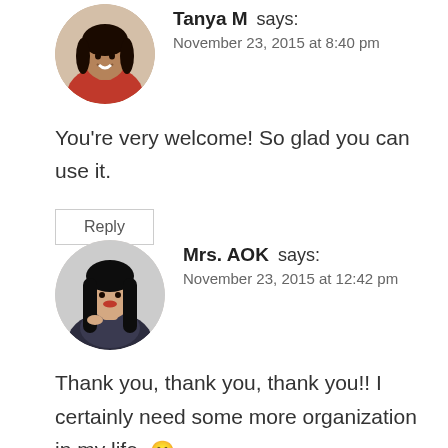[Figure (photo): Circular avatar photo of Tanya M, a woman smiling, wearing a red top]
Tanya M says:
November 23, 2015 at 8:40 pm
You're very welcome! So glad you can use it.
Reply
[Figure (photo): Circular avatar photo of Mrs. AOK, a woman with long dark hair]
Mrs. AOK says:
November 23, 2015 at 12:42 pm
Thank you, thank you, thank you!! I certainly need some more organization in my life. 🙂 I pinned this to my Blogging Tips, Tricks and Freebie board. 🙂